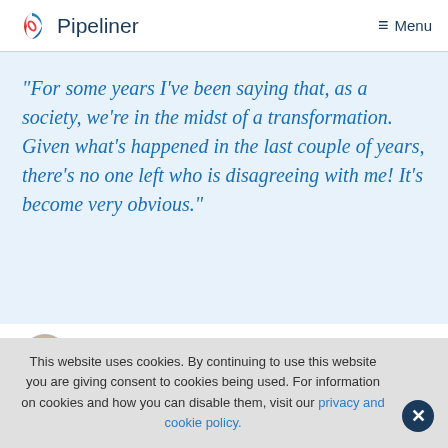Pipeliner | Menu
“For some years I’ve been saying that, as a society, we’re in the midst of a transformation. Given what’s happened in the last couple of years, there’s no one left who is disagreeing with me! It’s become very obvious.”
[Figure (photo): Circular headshot of Nikolaus Kimla]
Nikolaus Kimla, CEO at Pipelinersales, Inc.
This website uses cookies. By continuing to use this website you are giving consent to cookies being used. For information on cookies and how you can disable them, visit our privacy and cookie policy.